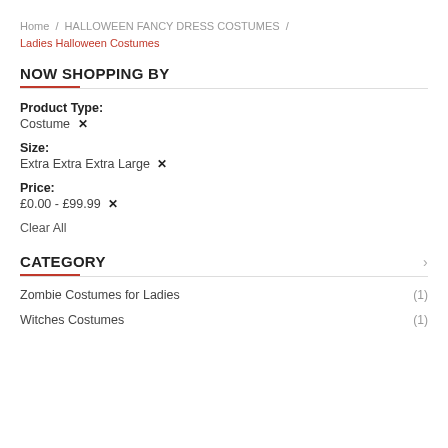Home / HALLOWEEN FANCY DRESS COSTUMES / Ladies Halloween Costumes
NOW SHOPPING BY
Product Type:
Costume ✕
Size:
Extra Extra Extra Large ✕
Price:
£0.00 - £99.99 ✕
Clear All
CATEGORY
Zombie Costumes for Ladies (1)
Witches Costumes (1)